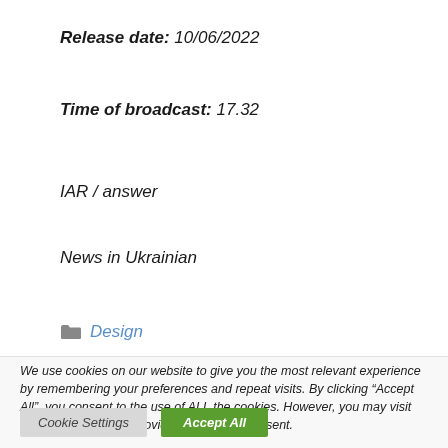Release date: 10/06/2022
Time of broadcast: 17.32
IAR / answer
News in Ukrainian
Design
We use cookies on our website to give you the most relevant experience by remembering your preferences and repeat visits. By clicking “Accept All”, you consent to the use of ALL the cookies. However, you may visit “Cookie Settings” to provide a controlled consent.